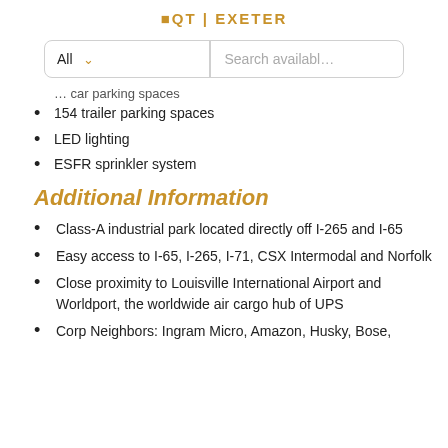EQT EXETER
All  Search availabl...
… car parking spaces
154 trailer parking spaces
LED lighting
ESFR sprinkler system
Additional Information
Class-A industrial park located directly off I-265 and I-65
Easy access to I-65, I-265, I-71, CSX Intermodal and Norfolk
Close proximity to Louisville International Airport and Worldport, the worldwide air cargo hub of UPS
Corp Neighbors: Ingram Micro, Amazon, Husky, Bose,